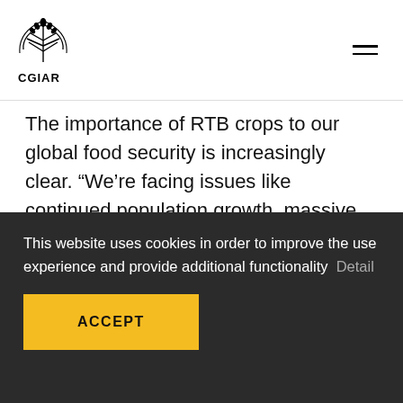CGIAR
The importance of RTB crops to our global food security is increasingly clear. “We’re facing issues like continued population growth, massive urbanization and growing concerns about future food supplies. Add to that the climate crisis,” says Scott. “All of those issues impact food security and
This website uses cookies in order to improve the use experience and provide additional functionality  Detail
ACCEPT